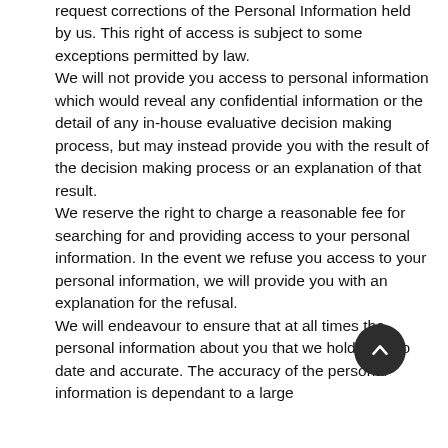request corrections of the Personal Information held by us. This right of access is subject to some exceptions permitted by law. We will not provide you access to personal information which would reveal any confidential information or the detail of any in-house evaluative decision making process, but may instead provide you with the result of the decision making process or an explanation of that result. We reserve the right to charge a reasonable fee for searching for and providing access to your personal information. In the event we refuse you access to your personal information, we will provide you with an explanation for the refusal. We will endeavour to ensure that at all times the personal information about you that we hold is up to date and accurate. The accuracy of the personal information is dependant to a large
[Figure (other): Back to top button — dark circular button with upward chevron arrow]